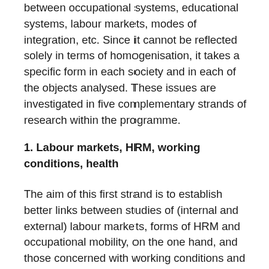between occupational systems, educational systems, labour markets, modes of integration, etc. Since it cannot be reflected solely in terms of homogenisation, it takes a specific form in each society and in each of the objects analysed. These issues are investigated in five complementary strands of research within the programme.
1. Labour markets, HRM, working conditions, health
The aim of this first strand is to establish better links between studies of (internal and external) labour markets, forms of HRM and occupational mobility, on the one hand, and those concerned with working conditions and health, on the other. What are the links between the various forms of mobility over the working life and the ‘sustainability’ of working conditions, in the sense of their being ‘compatible with the maintenance and development of employees’ health, skills and employability’? These links are part of the societal dynamics that now being put to the test by globalisation. In France, for example, pension reforms and